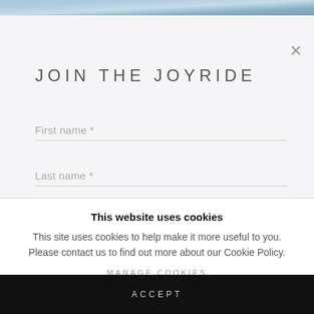[Figure (photo): Blurred top banner image with blue/teal tones]
JOIN THE JOYRIDE
First name *
Last name *
This website uses cookies
This site uses cookies to help make it more useful to you. Please contact us to find out more about our Cookie Policy.
MANAGE COOKIES
ACCEPT